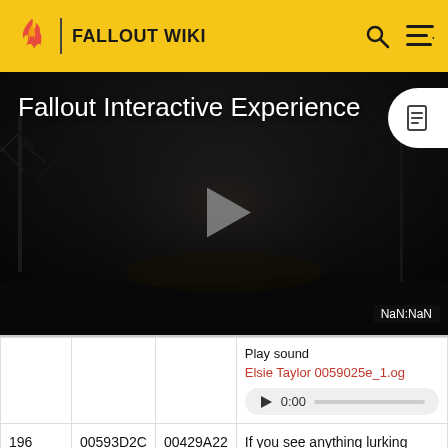FALLOUT WIKI
[Figure (screenshot): Fallout Interactive Experience video player showing a dark, post-apocalyptic scene with a play button overlay and NaN:NaN timestamp]
|  |  |  | Play sound / Elsie Taylor 0059025e_1.og... |
| --- | --- | --- | --- |
|  |  |  | Play sound
Elsie Taylor 0059025e_1.og
▶ 0:00 —— |
| 196 | 00593D2C | 00429A22 | If you see anything lurking |